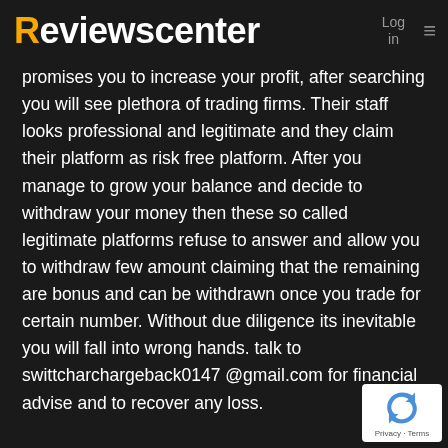Reviewscenter   Log in  ≡
promises you to increase your profit, after searching you will see plethora of trading firms. Their staff looks professional and legitimate and they claim their platform as risk free platform. After you manage to grow your balance and decide to withdraw your money then these so called legitimate platforms refuse to answer and allow you to withdraw few amount claiming that the remaining are bonus and can be withdrawn once you trade for certain number. Without due diligence its inevitable you will fall into wrong hands. talk to swittchargeback0147 @gmail.com for financial advise and to recover any loss.